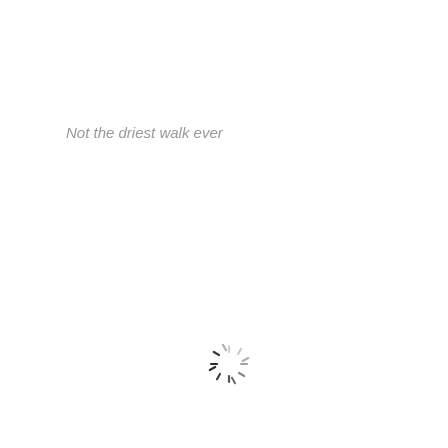Not the driest walk ever
[Figure (other): Loading spinner icon — a circular arrangement of radial dashes fading from dark to light, suggesting a rotating wait indicator]